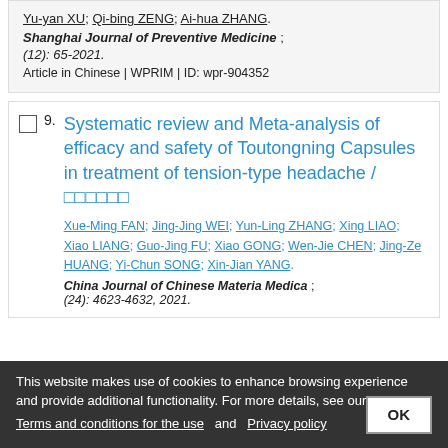Yu-yan XU; Qi-bing ZENG; Ai-hua ZHANG. Shanghai Journal of Preventive Medicine; (12): 65-2021. Article in Chinese | WPRIM | ID: wpr-904352
9. Systematic review and Meta-analysis of efficacy and safety of Toutongning Capsules in treatment of tension-type headache / □□□□□□
Xue-Ming FAN; Jing-Jing WEI; Yun-Ling ZHANG; Xing LIAO; Xiao LIANG; Guo-Jing FU; Xiao GONG; Wen-Jie CHEN; Jing-Ze HUANG; Yi-Chun SONG; Xin-Jian YANG
China Journal of Chinese Materia Medica; (24): 4623-4632, 2021.
This website makes use of cookies to enhance browsing experience and provide additional functionality. For more details, see ours: Terms and conditions for the use and Privacy policy